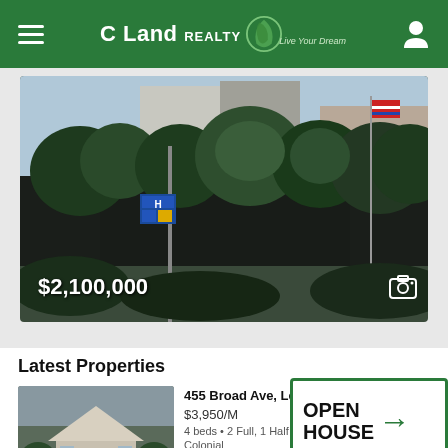C Land REALTY
[Figure (photo): Property photo showing a building with trees and a flag pole, price overlay showing $2,100,000]
Latest Properties
[Figure (photo): Thumbnail of property at 455 Broad Ave, Leonia — a white colonial house]
455 Broad Ave, Leonia,
$3,950/M
4 beds • 2 Full, 1 Half baths
Colonial
[Figure (logo): OPEN HOUSE sign with arrow and C Land Realty branding]